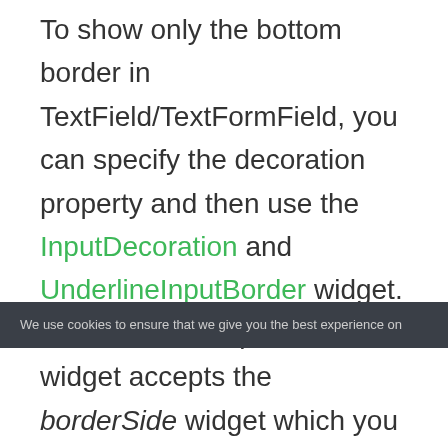To show only the bottom border in TextField/TextFormField, you can specify the decoration property and then use the InputDecoration and UnderlineInputBorder widget. The UnderlineInputBorder widget accepts the borderSide widget which you can use to create the border.
We use cookies to ensure that we give you the best experience on